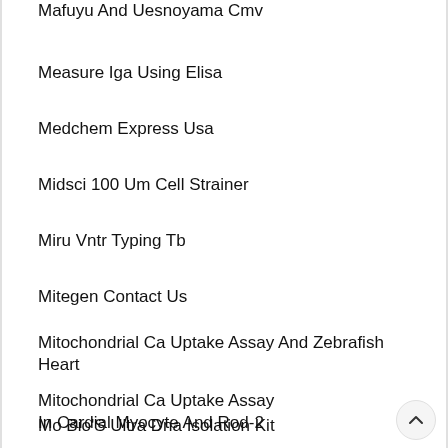Mafuyu And Uesnoyama Cmv
Measure Iga Using Elisa
Medchem Express Usa
Midsci 100 Um Cell Strainer
Miru Vntr Typing Tb
Mitegen Contact Us
Mitochondrial Ca Uptake Assay And Zebrafish Heart
Mitochondrial Ca Uptake Assay In Cardial Myocyte And Rod-2
Mo Bio'S Ultra Dna Isolation Kit